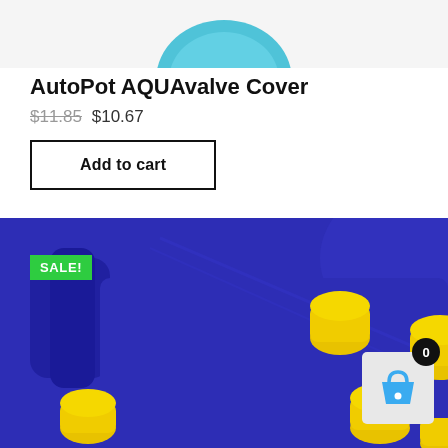[Figure (photo): Top portion of a blue/teal rounded product (AutoPot AQUAvalve Cover) visible at the top of the page]
AutoPot AQUAvalve Cover
$11.85 $10.67
Add to cart
SALE!
[Figure (photo): Close-up photo of a dark blue AutoPot AQUAvalve device with yellow cylindrical pegs/buttons on its surface]
[Figure (other): Shopping cart widget icon showing a blue basket with a black badge showing 0 items]